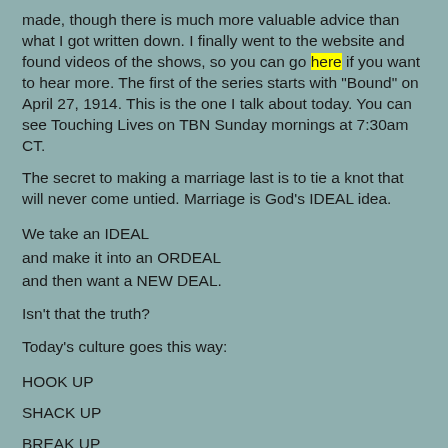made, though there is much more valuable advice than what I got written down. I finally went to the website and found videos of the shows, so you can go here if you want to hear more. The first of the series starts with "Bound" on April 27, 1914. This is the one I talk about today. You can see Touching Lives on TBN Sunday mornings at 7:30am CT.
The secret to making a marriage last is to tie a knot that will never come untied. Marriage is God’s IDEAL idea.
We take an IDEAL
and make it into an ORDEAL
and then want a NEW DEAL.
Isn’t that the truth?
Today’s culture goes this way:
HOOK UP
SHACK UP
BREAK UP